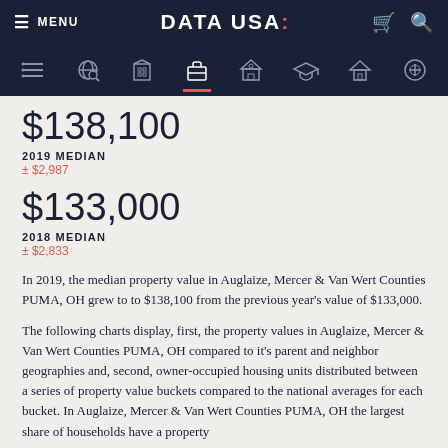MENU | DATA USA: | (cart) (search)
$138,100
2019 MEDIAN
± $2,987
$133,000
2018 MEDIAN
± $2,833
In 2019, the median property value in Auglaize, Mercer & Van Wert Counties PUMA, OH grew to to $138,100 from the previous year's value of $133,000.
The following charts display, first, the property values in Auglaize, Mercer & Van Wert Counties PUMA, OH compared to it's parent and neighbor geographies and, second, owner-occupied housing units distributed between a series of property value buckets compared to the national averages for each bucket. In Auglaize, Mercer & Van Wert Counties PUMA, OH the largest share of households have a property